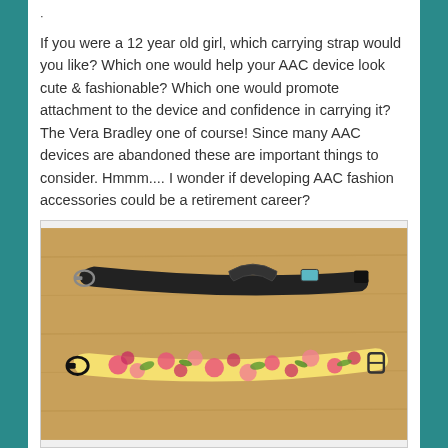·
If you were a 12 year old girl, which carrying strap would you like? Which one would help your AAC device look cute & fashionable? Which one would promote attachment to the device and confidence in carrying it? The Vera Bradley one of course! Since many AAC devices are abandoned these are important things to consider. Hmmm.... I wonder if developing AAC fashion accessories could be a retirement career?
[Figure (photo): Photo of two carrying straps on a wooden surface: a plain black adjustable strap on top, and a decorative pink and green floral patterned strap (Vera Bradley style) below it.]